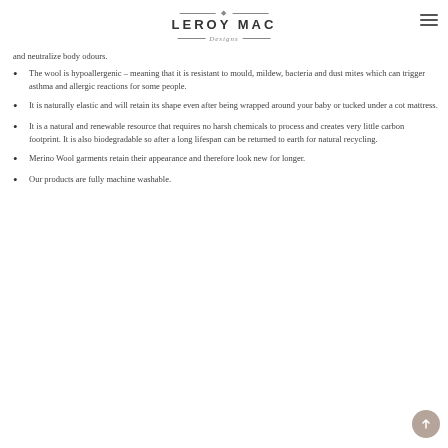LEROY MAC Designs
and neutralize body odours.
The wool is hypoallergenic – meaning that it is resistant to mould, mildew, bacteria and dust mites which can trigger asthma and allergic reactions for some people.
It is naturally elastic and will retain its shape even after being wrapped around your baby or tucked under a cot mattress.
It is a natural and renewable resource that requires no harsh chemicals to process and creates very little carbon footprint. It is also biodegradable so after a long lifespan can be returned to earth for natural recycling.
Merino Wool garments retain their appearance and therefore look new for longer.
Our products are fully machine washable.